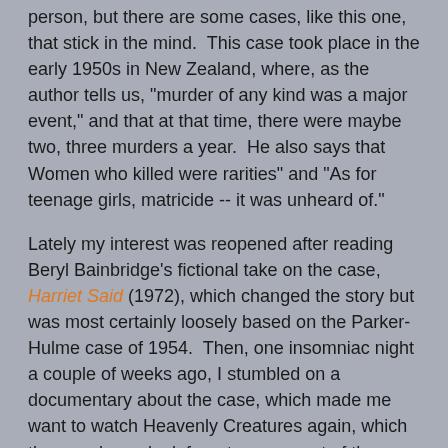person, but there are some cases, like this one, that stick in the mind.  This case took place in the early 1950s in New Zealand, where, as the author tells us, "murder of any kind was a major event," and that at that time, there were maybe two, three murders a year.  He also says that Women who killed were rarities" and "As for teenage girls, matricide -- it was unheard of."
Lately my interest was reopened after reading Beryl Bainbridge's fictional take on the case, Harriet Said (1972), which changed the story but was most certainly loosely based on the Parker-Hulme case of 1954.  Then, one insomniac night a couple of weeks ago, I stumbled on a documentary about the case, which made me want to watch Heavenly Creatures again, which then made me look for a true account of the murder, which led me to this book.  I will say that as long as Graham sticks to the subject at hand, it's a book worth reading; it's when he goes off on tangents of details that I could have cared less about that I found myself tuning out.
Graham starts his story in the hours leading up to the actual